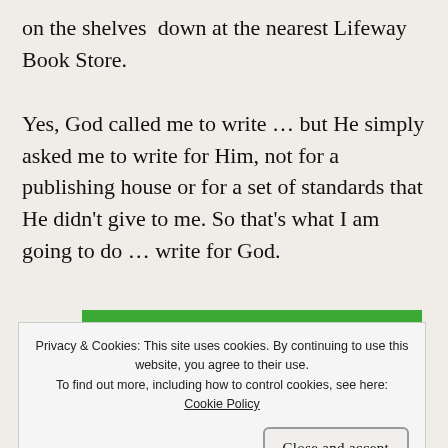on the shelves  down at the nearest Lifeway Book Store.
Yes, God called me to write … but He simply asked me to write for Him, not for a publishing house or for a set of standards that He didn't give to me. So that's what I am going to do … write for God.
[Figure (screenshot): Green WordPress promotional banner showing partial text 'WordPress site.' and bold text 'You run your business.']
Privacy & Cookies: This site uses cookies. By continuing to use this website, you agree to their use.
To find out more, including how to control cookies, see here: Cookie Policy
Close and accept